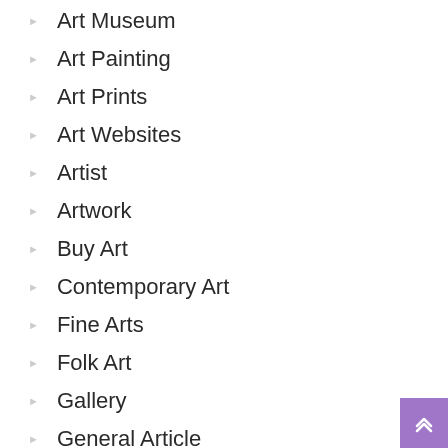Art Museum
Art Painting
Art Prints
Art Websites
Artist
Artwork
Buy Art
Contemporary Art
Fine Arts
Folk Art
Gallery
General Article
Modern Art